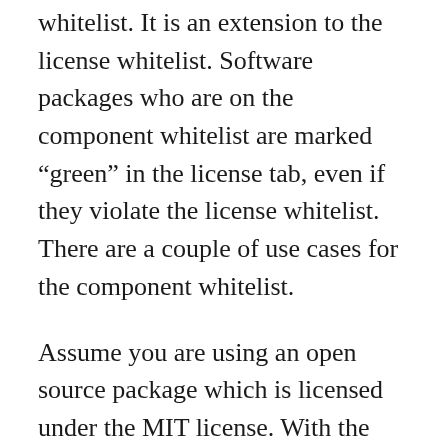whitelist. It is an extension to the license whitelist. Software packages who are on the component whitelist are marked “green” in the license tab, even if they violate the license whitelist. There are a couple of use cases for the component whitelist.
Assume you are using an open source package which is licensed under the MIT license. With the next release the maintainer is changing the license from MIT to GPL-3.0. That means the newest version of the software library would probably violate your license whitelist. But maybe you buy a commercial license for the library, so that you are allowed to use it in